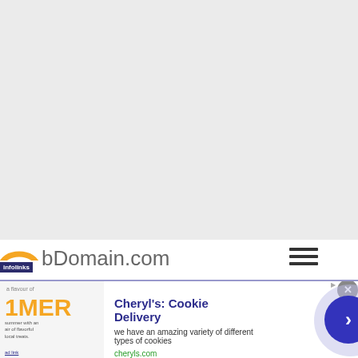[Figure (screenshot): Large light gray empty area taking up the top portion of the page, representing a blank webpage content area]
infolinks  SubDomain.com
[Figure (screenshot): Advertisement banner: Cheryl's: Cookie Delivery - we have an amazing variety of different types of cookies - cheryls.com]